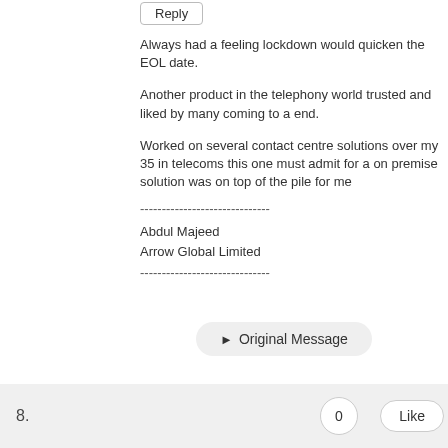Reply
Always had a feeling lockdown would quicken the EOL date.
Another product in the telephony world trusted and liked by many coming to a end.
Worked on several contact centre solutions over my 35 in telecoms this one must admit for a on premise solution was on top of the pile for me
------------------------------
Abdul Majeed
Arrow Global Limited
------------------------------
▶ Original Message
8.
0
Like